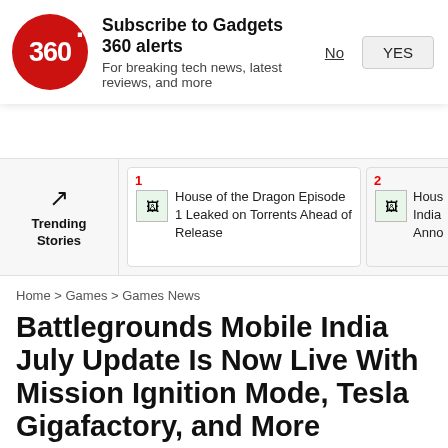Subscribe to Gadgets 360 alerts
For breaking tech news, latest reviews, and more
[Figure (infographic): Trending Stories bar showing two items: 1) House of the Dragon Episode 1 Leaked on Torrents Ahead of Release, 2) House of the Dragon India Announ...]
Home > Games > Games News
Battlegrounds Mobile India July Update Is Now Live With Mission Ignition Mode, Tesla Gigafactory, and More
Read in: हिंदी
Battlegrounds Mobile India version 1.5.0...